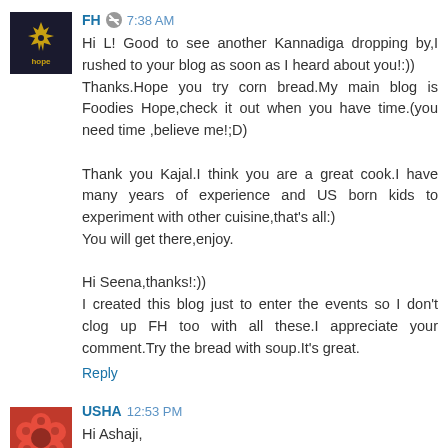[Figure (photo): Dark square avatar with a gold snowflake design and 'hope' text label for user FH]
FH  7:38 AM
Hi L! Good to see another Kannadiga dropping by,I rushed to your blog as soon as I heard about you!:))
Thanks.Hope you try corn bread.My main blog is Foodies Hope,check it out when you have time.(you need time ,believe me!;D)

Thank you Kajal.I think you are a great cook.I have many years of experience and US born kids to experiment with other cuisine,that's all:)
You will get there,enjoy.

Hi Seena,thanks!:))
I created this blog just to enter the events so I don't clog up FH too with all these.I appreciate your comment.Try the bread with soup.It's great.
Reply
[Figure (photo): Red floral avatar for user USHA]
USHA  12:53 PM
Hi Ashaji,